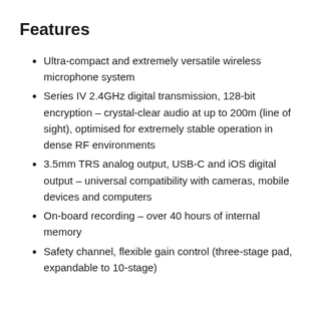Features
Ultra-compact and extremely versatile wireless microphone system
Series IV 2.4GHz digital transmission, 128-bit encryption – crystal-clear audio at up to 200m (line of sight), optimised for extremely stable operation in dense RF environments
3.5mm TRS analog output, USB-C and iOS digital output – universal compatibility with cameras, mobile devices and computers
On-board recording – over 40 hours of internal memory
Safety channel, flexible gain control (three-stage pad, expandable to 10-stage)